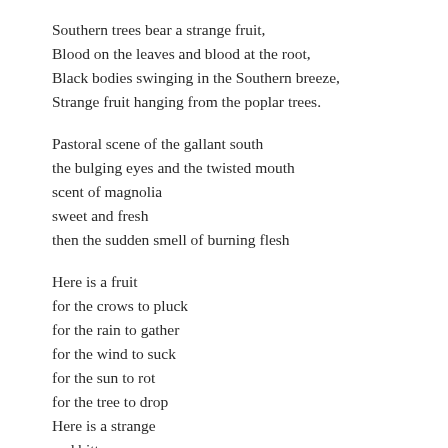Southern trees bear a strange fruit,
Blood on the leaves and blood at the root,
Black bodies swinging in the Southern breeze,
Strange fruit hanging from the poplar trees.
Pastoral scene of the gallant south
the bulging eyes and the twisted mouth
scent of magnolia
sweet and fresh
then the sudden smell of burning flesh
Here is a fruit
for the crows to pluck
for the rain to gather
for the wind to suck
for the sun to rot
for the tree to drop
Here is a strange
and bitter crop